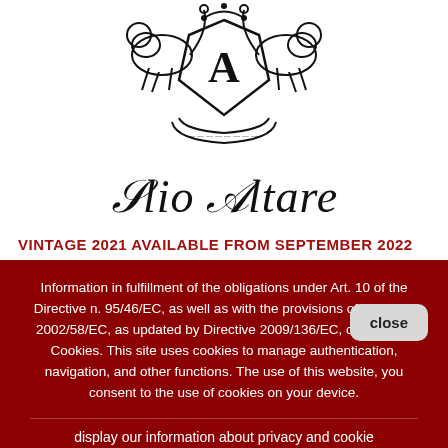[Figure (logo): Heraldic crest with two lions flanking a shield with letter A, decorative scrollwork and banner below]
Elio Altare
VINTAGE 2021 AVAILABLE FROM SEPTEMBER 2022
Information in fulfillment of the obligations under Art. 10 of the Directive n. 95/46/EC, as well as with the provisions of Directive 2002/58/EC, as updated by Directive 2009/136/EC, concerning Cookies. This site uses cookies to manage authentication, navigation, and other functions. The use of this website, you consent to the use of cookies on your device.
display our information about privacy and cookie